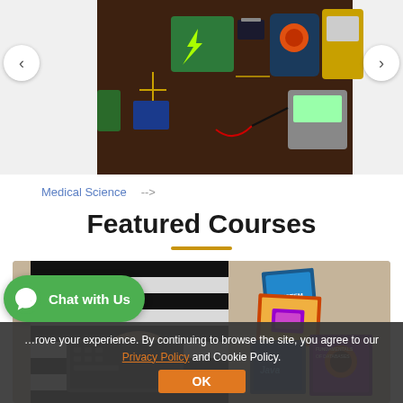[Figure (screenshot): Electronics/engineering components image carousel showing circuit boards, multimeters, and electronic tools on a dark wooden background. Navigation arrows on left and right sides.]
Medical Science  -->
Featured Courses
[Figure (photo): Person in striped sweater working on laptop, surrounded by programming and computer science books including Java and System Design textbooks.]
Chat with Us
...rove your experience. By continuing to browse the site, you agree to our Privacy Policy and Cookie Policy. OK